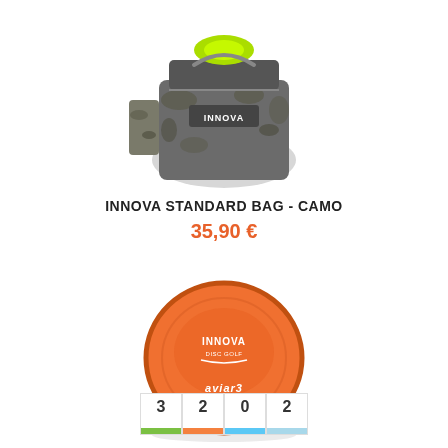[Figure (photo): Innova disc golf bag in camo pattern with green disc visible inside, shown from front angle. The bag is gray/camo colored with Innova Disc Golf branding.]
INNOVA STANDARD BAG - CAMO
35,90 €
[Figure (photo): Orange Innova disc golf disc (Aviar3) shown from above, with Innova Disc Golf logo and Aviar3 text visible on the disc.]
| Speed | Glide | Turn | Fade |
| --- | --- | --- | --- |
| 3 | 2 | 0 | 2 |